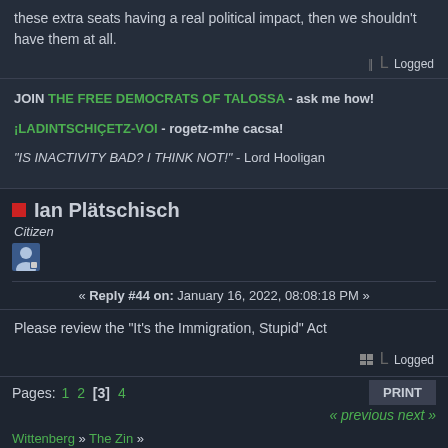these extra seats having a real political impact, then we shouldn't have them at all.
Logged
JOIN THE FREE DEMOCRATS OF TALOSSA - ask me how!
¡LADINTSCHIÇETZ-VOI - rogetz-mhe cacsa!
"IS INACTIVITY BAD? I THINK NOT!" - Lord Hooligan
Ian Plätschisch
Citizen
« Reply #44 on: January 16, 2022, 08:08:18 PM »
Please review the "It's the Immigration, Stupid" Act
Logged
Pages: 1 2 [3] 4   PRINT
« previous next »
Wittenberg » The Zin »